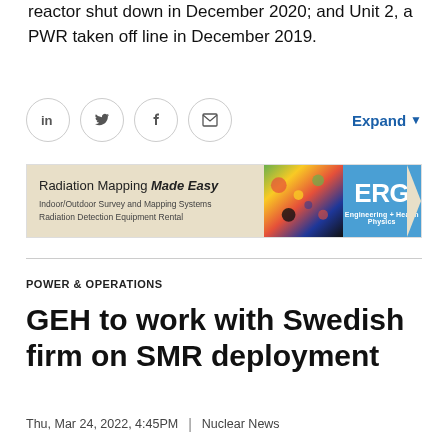reactor shut down in December 2020; and Unit 2, a PWR taken off line in December 2019.
[Figure (infographic): Social sharing icons: LinkedIn, Twitter, Facebook, Email; and an Expand button with dropdown arrow]
[Figure (infographic): ERG advertisement banner: Radiation Mapping Made Easy - Indoor/Outdoor Survey and Mapping Systems, Radiation Detection Equipment Rental. Engineering + Health Physics.]
POWER & OPERATIONS
GEH to work with Swedish firm on SMR deployment
Thu, Mar 24, 2022, 4:45PM  |  Nuclear News